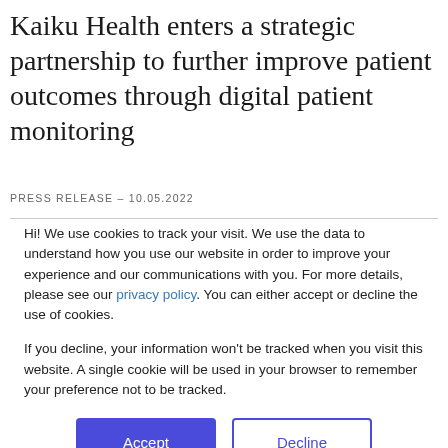Kaiku Health enters a strategic partnership to further improve patient outcomes through digital patient monitoring
PRESS RELEASE – 10.05.2022
Hi! We use cookies to track your visit. We use the data to understand how you use our website in order to improve your experience and our communications with you. For more details, please see our privacy policy. You can either accept or decline the use of cookies.
If you decline, your information won't be tracked when you visit this website. A single cookie will be used in your browser to remember your preference not to be tracked.